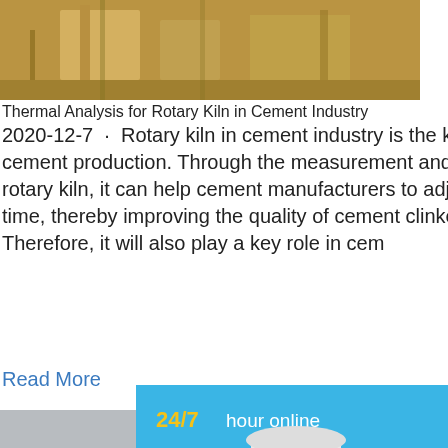[Figure (photo): Industrial rotary kiln machinery in a factory setting, yellowish/industrial tones]
Thermal Analysis for Rotary Kiln in Cement Industry
2020-12-7 · Rotary kiln in cement industry is the key equipment for dry and wet cement production. Through the measurement and analysis of the heat in the rotary kiln, it can help cement manufacturers to adjust equipment parameters in time, thereby improving the quality of cement clinker. Therefore, it will also play a key role in cem…
Read More
[Figure (photo): Large white vertical industrial rotary dryer/mill machine in a manufacturing facility]
Rotary Dryers Design & Manufacturing - Louisville…
ROTARY DRYERS. Louisville Dryer Compa… e in construction, service, and maintenance o… rotary dryers, including Direct Heat Dryers,…
[Figure (infographic): Chat widget sidebar: 24/7 hour online with yellow bold text, white cone crusher machine image, Click me to chat>> button, Enquiry section, limingjlmofen bar at bottom in yellow on dark blue]